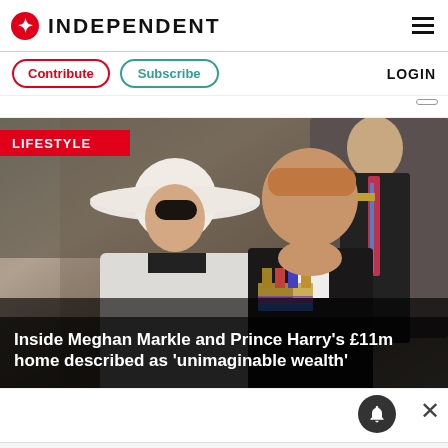INDEPENDENT
Contribute | Subscribe | LOGIN
[Figure (photo): Meghan Markle wearing a white wide-brim hat and white outfit, standing next to Prince Harry in a dark suit with military medals, at a public event]
Inside Meghan Markle and Prince Harry's £11m home described as 'unimaginable wealth'